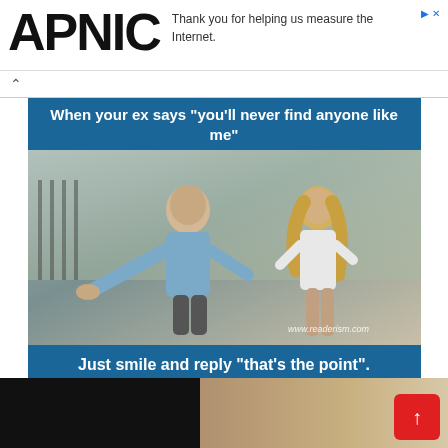APNIC — Thank you for helping us measure the Internet.
[Figure (screenshot): Meme image showing a man and woman arguing outdoors. Top text: When your ex says "you'll never find anyone like me". Bottom text: Just smile and reply "that's the point". Watermark: www.readerism.com]
Dear Ex ; you are the reason why I know I deserve so much better.
[Figure (photo): Bottom strip showing two partial photos side by side: left is dark/black, right shows a person with blonde hair.]